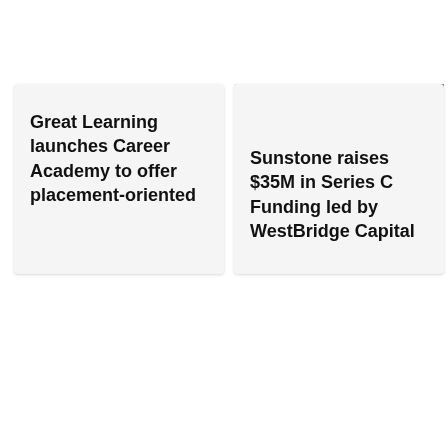Great Learning launches Career Academy to offer placement-oriented
[Figure (screenshot): Navigation arrow button (right arrow) in dark grey square, and a close (×) button]
Sunstone raises $35M in Series C Funding led by WestBridge Capital